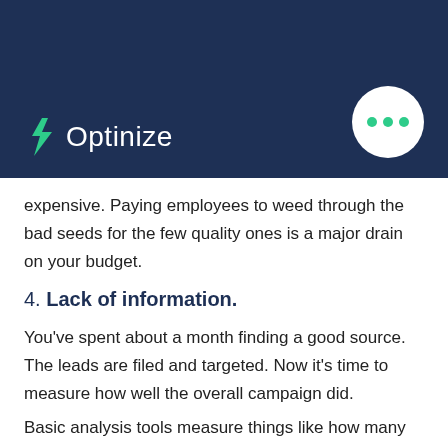[Figure (logo): Optinize logo with teal lightning bolt icon and white text on dark navy background, plus a white circle button with three teal dots]
expensive. Paying employees to weed through the bad seeds for the few quality ones is a major drain on your budget.
4. Lack of information.
You've spent about a month finding a good source. The leads are filed and targeted. Now it's time to measure how well the overall campaign did.
Basic analysis tools measure things like how many customers were generated from X amount of leads or during a given time period.